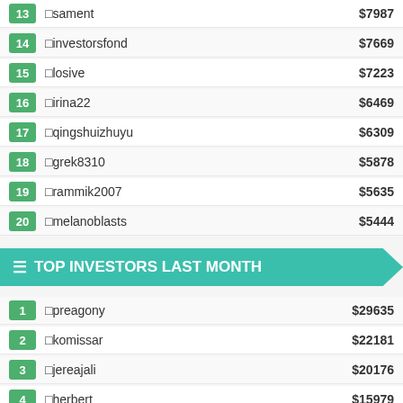13 □sament $7987
14 □investorsfond $7669
15 □losive $7223
16 □irina22 $6469
17 □qingshuizhuyu $6309
18 □grek8310 $5878
19 □rammik2007 $5635
20 □melanoblasts $5444
TOP INVESTORS LAST MONTH
1 □preagony $29635
2 □komissar $22181
3 □jereajali $20176
4 □herbert $15979
5 □rucker $15683
6 □qingshuizhuyu $12132
7 □ssava $12010
8 □rammik2007 $11660